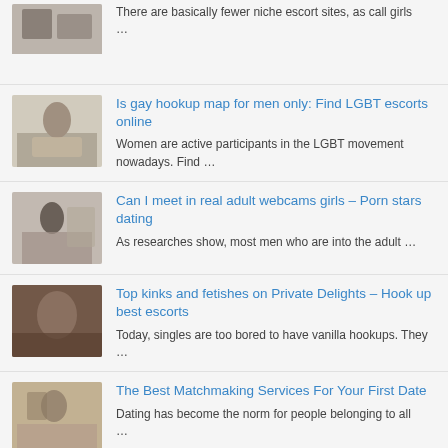There are basically fewer niche escort sites, as call girls …
Is gay hookup map for men only: Find LGBT escorts online
Women are active participants in the LGBT movement nowadays. Find …
Can I meet in real adult webcams girls – Porn stars dating
As researches show, most men who are into the adult …
Top kinks and fetishes on Private Delights – Hook up best escorts
Today, singles are too bored to have vanilla hookups. They …
The Best Matchmaking Services For Your First Date
Dating has become the norm for people belonging to all …